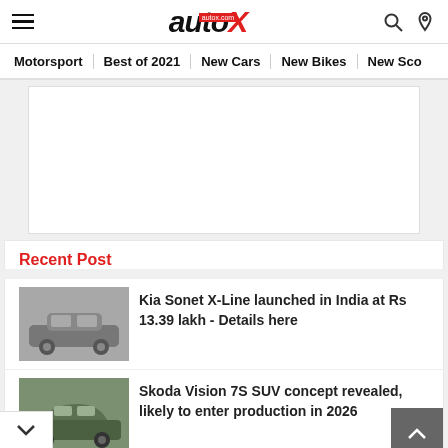autoX
Motorsport | Best of 2021 | New Cars | New Bikes | New Sco...
[Figure (other): Advertisement banner placeholder (white/grey rectangle)]
Recent Post
Kia Sonet X-Line launched in India at Rs 13.39 lakh - Details here
Skoda Vision 7S SUV concept revealed, likely to enter production in 2026